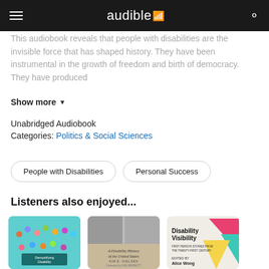audible
This audiobook reveals that people with disabilities are the invisible force that has shaped history. They have been instrumental in the growth of freedom and birth of democracy. They have produced
Show more
Unabridged Audiobook
Categories: Politics & Social Sciences
People with Disabilities
Personal Success
Listeners also enjoyed...
[Figure (illustration): Book cover: Demystifying Disability on teal background with illustrated figures]
[Figure (illustration): Book cover: A Disability History of the United States by Kim E. Nielsen]
[Figure (illustration): Book cover: Disability Visibility edited by Alice Wong, colorful geometric shapes on cream background]